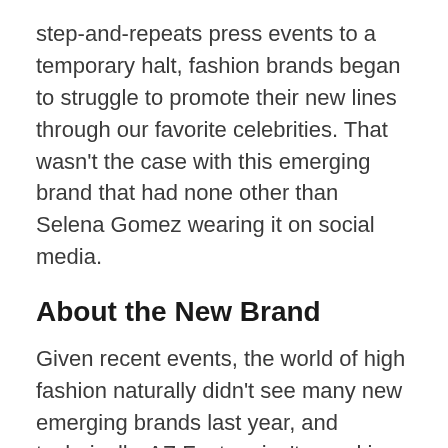step-and-repeats press events to a temporary halt, fashion brands began to struggle to promote their new lines through our favorite celebrities. That wasn't the case with this emerging brand that had none other than Selena Gomez wearing it on social media.
About the New Brand
Given recent events, the world of high fashion naturally didn't see many new emerging brands last year, and technically, AZ Factory isn't a rookie effort either. The brand is the new label of designer Alber Elbaz who left Lanvin five years ago. Elbaz has previously worked